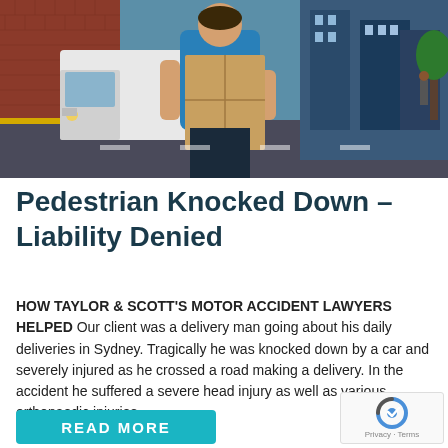[Figure (photo): A man in a blue t-shirt carrying a large cardboard box, with a delivery truck and urban street scene in the background.]
Pedestrian Knocked Down – Liability Denied
HOW TAYLOR & SCOTT'S MOTOR ACCIDENT LAWYERS HELPED Our client was a delivery man going about his daily deliveries in Sydney. Tragically he was knocked down by a car and severely injured as he crossed a road making a delivery. In the accident he suffered a severe head injury as well as various orthopaedic injuries….
[Figure (other): reCAPTCHA badge with Privacy - Terms text]